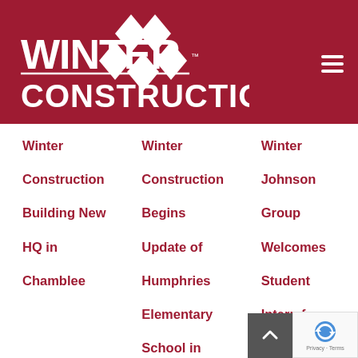[Figure (logo): Winter Construction logo with white text and diamond W mark on dark red background, with hamburger menu icon top right]
Winter Construction Building New HQ in Chamblee
Winter Construction Begins Update of Humphries Elementary School in Atlanta
Winter Johnson Group Welcomes Student Intern from Atlanta Public Schools